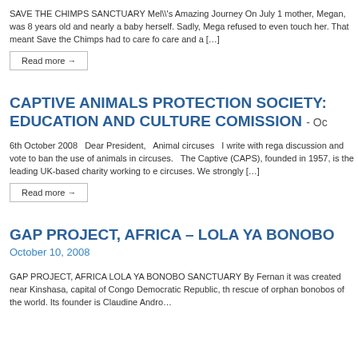SAVE THE CHIMPS SANCTUARY Mel\\'s Amazing Journey On July 1 mother, Megan, was 8 years old and nearly a baby herself. Sadly, Mega refused to even touch her. That meant Save the Chimps had to care fo care and a […]
Read more →
CAPTIVE ANIMALS PROTECTION SOCIETY: EDUCATION AND CULTURE COMISSION - Oc
6th October 2008   Dear President,   Animal circuses   I write with rega discussion and vote to ban the use of animals in circuses.   The Captive (CAPS), founded in 1957, is the leading UK-based charity working to e circuses. We strongly […]
Read more →
GAP PROJECT, AFRICA – LOLA YA BONOBO
October 10, 2008
GAP PROJECT, AFRICA LOLA YA BONOBO SANCTUARY By Fernan it was created near Kinshasa, capital of Congo Democratic Republic, th rescue of orphan bonobos of the world. Its founder is Claudine Andro…